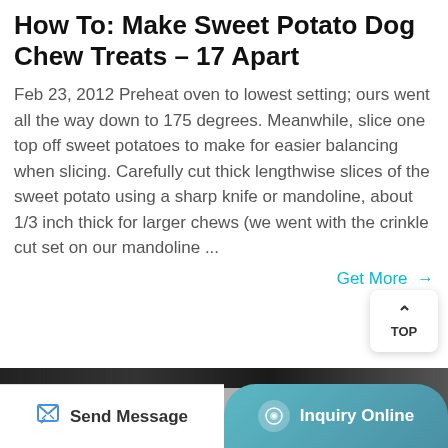How To: Make Sweet Potato Dog Chew Treats - 17 Apart
Feb 23, 2012 Preheat oven to lowest setting; ours went all the way down to 175 degrees. Meanwhile, slice one top off sweet potatoes to make for easier balancing when slicing. Carefully cut thick lengthwise slices of the sweet potato using a sharp knife or mandoline, about 1/3 inch thick for larger chews (we went with the crinkle cut set on our mandoline ...
Get More →
[Figure (photo): Dark oven interior with a metallic baking tray or mandoline slicer visible, with a small label on it]
Send Message
Inquiry Online